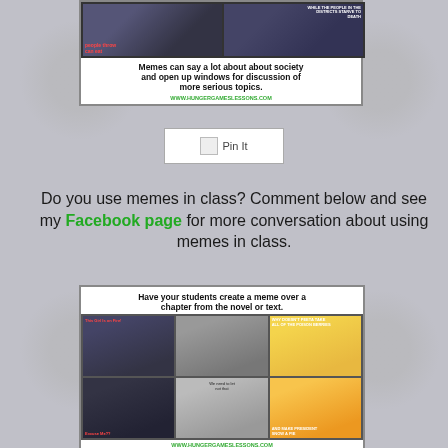[Figure (infographic): Meme image showing two photos side by side with captions, with bold text: 'Memes can say a lot about about society and open up windows for discussion of more serious topics.' and URL www.hungergameslessons.com]
[Figure (other): Pin It button/widget]
Do you use memes in class? Comment below and see my Facebook page for more conversation about using memes in class.
[Figure (infographic): Meme collage image with headline 'Have your students create a meme over a chapter from the novel or text.' showing multiple meme photos and URL www.hungergameslessons.com]